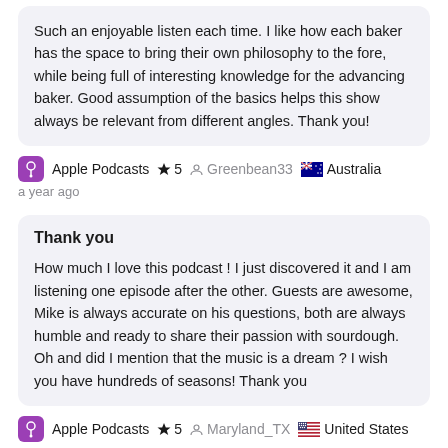Such an enjoyable listen each time. I like how each baker has the space to bring their own philosophy to the fore, while being full of interesting knowledge for the advancing baker. Good assumption of the basics helps this show always be relevant from different angles. Thank you!
Apple Podcasts ★ 5 Greenbean33 🇦🇺 Australia a year ago
Thank you
How much I love this podcast ! I just discovered it and I am listening one episode after the other. Guests are awesome, Mike is always accurate on his questions, both are always humble and ready to share their passion with sourdough. Oh and did I mention that the music is a dream ? I wish you have hundreds of seasons! Thank you
Apple Podcasts ★ 5 Maryland_TX 🇺🇸 United States a year ago